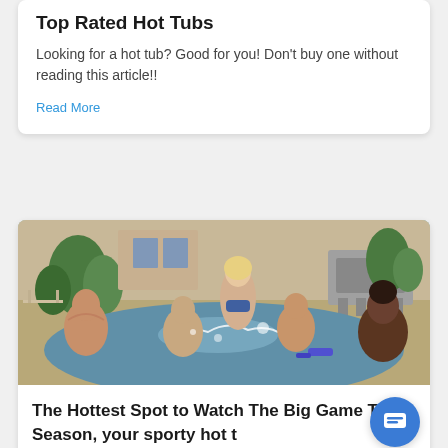Top Rated Hot Tubs
Looking for a hot tub? Good for you! Don't buy one without reading this article!!
Read More
[Figure (photo): Group of people laughing and playing in a hot tub outdoors, with a woman in a bikini kneeling above the water, others splashing around, an outdoor kitchen with a grill in the background, and tropical plants and a patio visible.]
The Hottest Spot to Watch The Big Game This Season, your sporty hot t